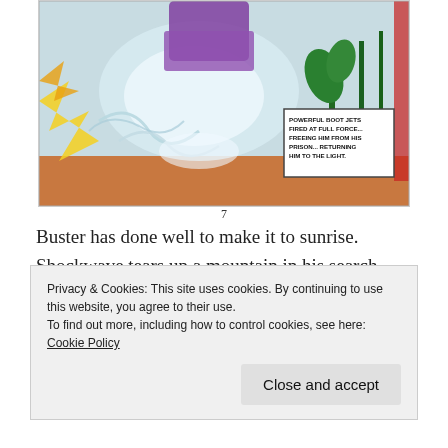[Figure (illustration): Comic book panel showing a superhero firing powerful boot jets at full force, freeing him from his prison and returning him to the light. The scene depicts an explosion with a figure breaking free, surrounded by plants and rocks. Caption reads: 'POWERFUL BOOT JETS FIRED AT FULL FORCE... FREEING HIM FROM HIS PRISON... RETURNING HIM TO THE LIGHT.' Page number 7 below.]
Buster has done well to make it to sunrise. Shockwave tears up a mountain in his search, until finally the two are face to face. Buster channels all power into one blast – inflicting pain on both. Shockwave falls but the exo-suit is a smoking wreck. Buster climbs out of the cockpit
Privacy & Cookies: This site uses cookies. By continuing to use this website, you agree to their use.
To find out more, including how to control cookies, see here: Cookie Policy

Close and accept